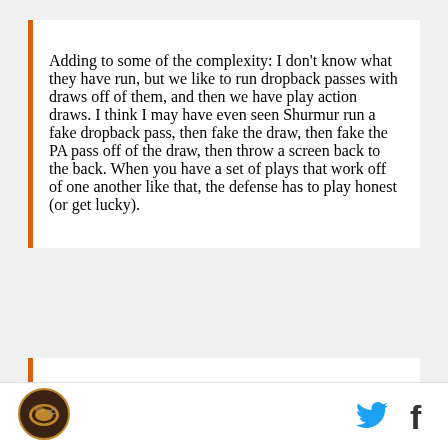Adding to some of the complexity: I don't know what they have run, but we like to run dropback passes with draws off of them, and then we have play action draws. I think I may have even seen Shurmur run a fake dropback pass, then fake the draw, then fake the PA pass off of the draw, then throw a screen back to the back. When you have a set of plays that work off of one another like that, the defense has to play honest (or get lucky).
With both of these tactics it will just be important to play "assignment football," react quickly, and really display the hustle that has been one of our better defensive characteristics for a few years--get people
[Figure (logo): Cleveland Browns helmet logo, circular badge]